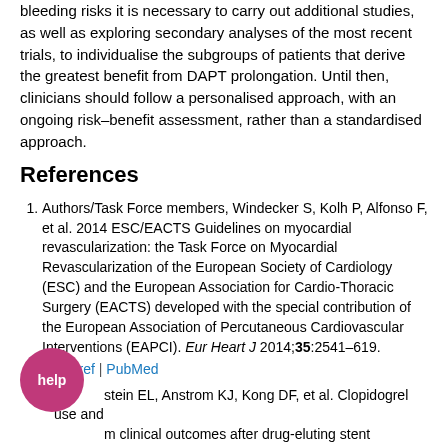bleeding risks it is necessary to carry out additional studies, as well as exploring secondary analyses of the most recent trials, to individualise the subgroups of patients that derive the greatest benefit from DAPT prolongation. Until then, clinicians should follow a personalised approach, with an ongoing risk–benefit assessment, rather than a standardised approach.
References
Authors/Task Force members, Windecker S, Kolh P, Alfonso F, et al. 2014 ESC/EACTS Guidelines on myocardial revascularization: the Task Force on Myocardial Revascularization of the European Society of Cardiology (ESC) and the European Association for Cardio-Thoracic Surgery (EACTS) developed with the special contribution of the European Association of Percutaneous Cardiovascular Interventions (EAPCI). Eur Heart J 2014;35:2541–619. Crossref | PubMed
...stein EL, Anstrom KJ, Kong DF, et al. Clopidogrel use and ...m clinical outcomes after drug-eluting stent implantation. ...2007;297:159–68. Crossref | PubMed